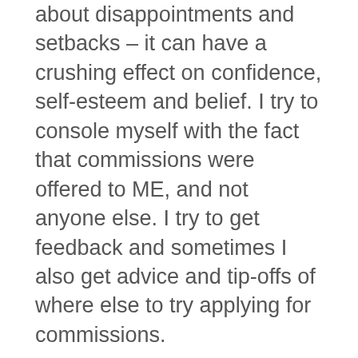about disappointments and setbacks – it can have a crushing effect on confidence, self-esteem and belief. I try to console myself with the fact that commissions were offered to ME, and not anyone else. I try to get feedback and sometimes I also get advice and tip-offs of where else to try applying for commissions.
What advice would you give to up and coming artists? My advice would be, do your research on artists you like and the kind of art similar to what you're doing. Researching gives you a better connection and understanding of your work with that of artists you like and respect. Try and